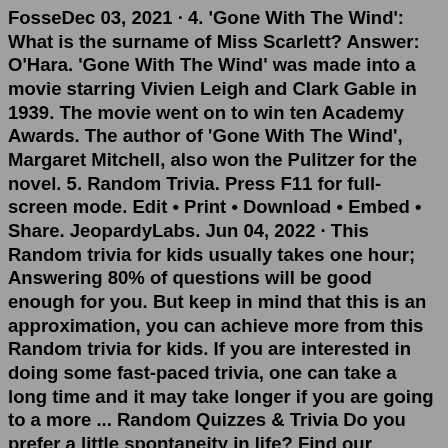FosseDec 03, 2021 · 4. 'Gone With The Wind': What is the surname of Miss Scarlett? Answer: O'Hara. 'Gone With The Wind' was made into a movie starring Vivien Leigh and Clark Gable in 1939. The movie went on to win ten Academy Awards. The author of 'Gone With The Wind', Margaret Mitchell, also won the Pulitzer for the novel. 5. Random Trivia. Press F11 for full-screen mode. Edit • Print • Download • Embed • Share. JeopardyLabs. Jun 04, 2022 · This Random trivia for kids usually takes one hour; Answering 80% of questions will be good enough for you. But keep in mind that this is an approximation, you can achieve more from this Random trivia for kids. If you are interested in doing some fast-paced trivia, one can take a long time and it may take longer if you are going to a more ... Random Quizzes & Trivia Do you prefer a little spontaneity in life? Find our selection of online random quizzes on 'random' topics for you to choose from. Academics, fashion, history, sports, entertainment - name it, and you might just have it! Top Trending Quizzes Take